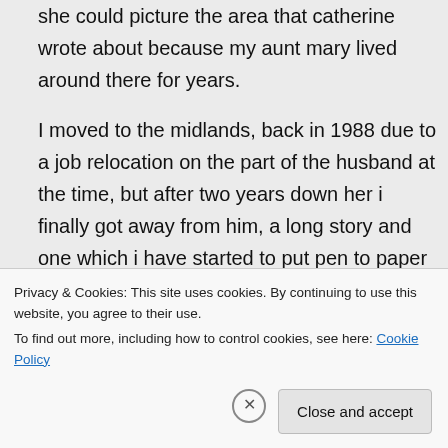she could picture the area that catherine wrote about because my aunt mary lived around there for years.
I moved to the midlands, back in 1988 due to a job relocation on the part of the husband at the time, but after two years down her i finally got away from him, a long story and one which i have started to put pen to paper about. I stayed in the midlands. I brought my mam down to the area and she sadly died at the age of 90
Privacy & Cookies: This site uses cookies. By continuing to use this website, you agree to their use.
To find out more, including how to control cookies, see here: Cookie Policy
Close and accept